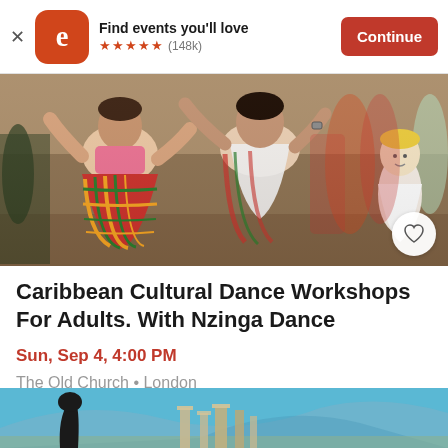Find events you'll love ★★★★★ (148k) Continue
[Figure (photo): People dancing in colorful Caribbean plaid/tartan costumes at an outdoor cultural event, with a young blonde child watching in the background]
Caribbean Cultural Dance Workshops For Adults. With Nzinga Dance
Sun, Sep 4, 4:00 PM
The Old Church • London
Free
[Figure (photo): Partial teaser image at bottom showing a sculpture and architectural ruins against a blue sky]